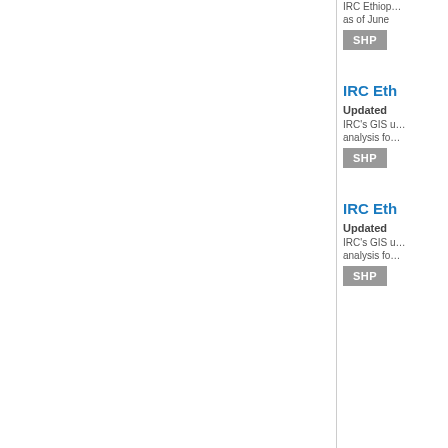IRC Ethi... as of June
[Figure (other): SHP button badge]
IRC Eth
Updated
IRC's GIS u... analysis fo...
[Figure (other): SHP button badge]
IRC Eth
Updated
IRC's GIS u... analysis fo...
[Figure (other): SHP button badge]